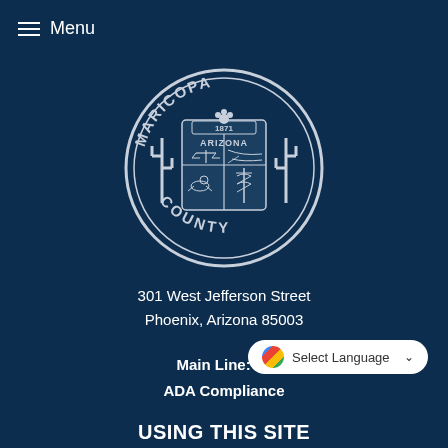Menu
[Figure (logo): Maricopa County Arizona official seal — circular seal with 'MARICOPA' at top, 'COUNTY' at bottom, '1871' and a flower in the center top, shield divided into four quadrants showing scales of justice, road/landscape, horse rider, and caduceus, flanked by saguaro cacti]
301 West Jefferson Street
Phoenix, Arizona 85003
Main Line: 60
ADA Compliance
USING THIS SITE